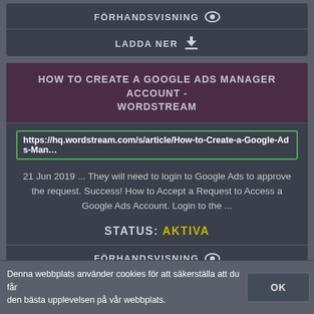FÖRHANDSVISNING
LADDA NER
HOW TO CREATE A GOOGLE ADS MANAGER ACCOUNT - WORDSTREAM
https://hq.wordstream.com/s/article/How-to-Create-a-Google-Ads-Man…
21 Jun 2019 ... They will need to login to Google Ads to approve the request. Success! How to Accept a Request to Access a Google Ads Account. Login to the ...
STATUS: AKTIVA
FÖRHANDSVISNING
LADDA NER
Denna webbplats använder cookies för att säkerställa att du får den bästa upplevelsen på vår webbplats.